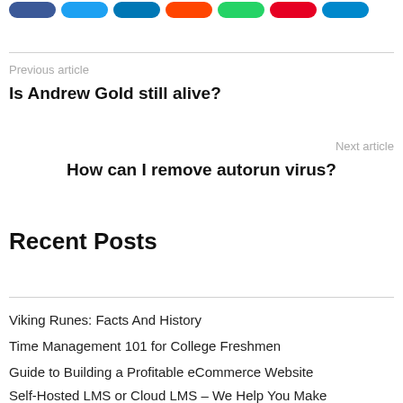[Figure (other): Row of social sharing buttons: Facebook (blue), Twitter (light blue), LinkedIn (dark blue), Reddit (orange), WhatsApp (green), Pinterest (red), Telegram (light blue)]
Previous article
Is Andrew Gold still alive?
Next article
How can I remove autorun virus?
Recent Posts
Viking Runes: Facts And History
Time Management 101 for College Freshmen
Guide to Building a Profitable eCommerce Website
Self-Hosted LMS or Cloud LMS – We Help You Make